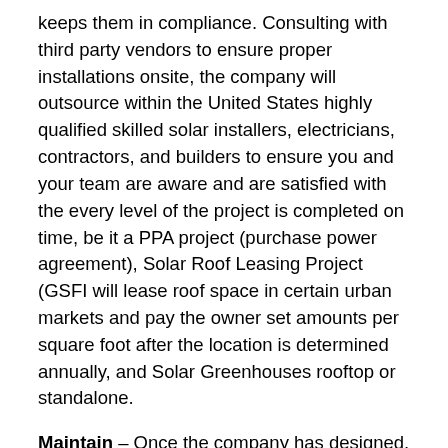keeps them in compliance. Consulting with third party vendors to ensure proper installations onsite, the company will outsource within the United States highly qualified skilled solar installers, electricians, contractors, and builders to ensure you and your team are aware and are satisfied with the every level of the project is completed on time, be it a PPA project (purchase power agreement), Solar Roof Leasing Project (GSFI will lease roof space in certain urban markets and pay the owner set amounts per square foot after the location is determined annually, and Solar Greenhouses rooftop or standalone.
Maintain – Once the company has designed, built and installed your solar phototic system it is their responsibility to maintain over next two decades depending on the agreement to maintain the panels in order to protect your investment and insure you are